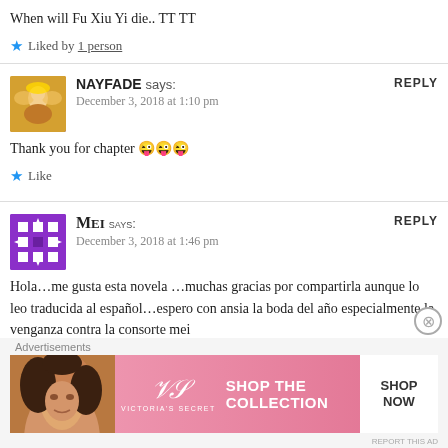When will Fu Xiu Yi die.. TT TT
Liked by 1 person
NAYFADE says:
December 3, 2018 at 1:10 pm
Thank you for chapter 😜😜😜
Like
Mei says:
December 3, 2018 at 1:46 pm
Hola…me gusta esta novela …muchas gracias por compartirla aunque lo leo traducida al español…espero con ansia la boda del año especialmente la venganza contra la consorte mei
Advertisements
[Figure (photo): Victoria's Secret advertisement banner showing a woman with curly hair and text 'SHOP THE COLLECTION' with SHOP NOW button]